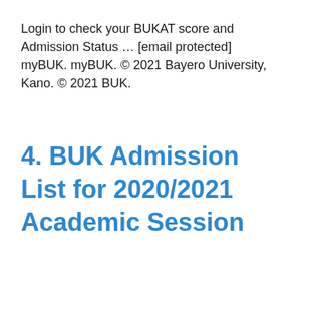Login to check your BUKAT score and Admission Status … [email protected] myBUK. myBUK. © 2021 Bayero University, Kano. © 2021 BUK.
4. BUK Admission List for 2020/2021 Academic Session